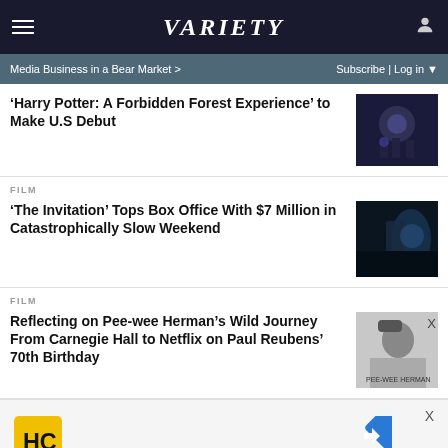Variety
Media Business in a Bear Market > | Subscribe | Log in
'Harry Potter: A Forbidden Forest Experience' to Make U.S Debut
FILM
'The Invitation' Tops Box Office With $7 Million in Catastrophically Slow Weekend
FILM
Reflecting on Pee-wee Herman's Wild Journey From Carnegie Hall to Netflix on Paul Reubens' 70th Birthday
[Figure (screenshot): Advertisement with HC logo and navigation arrow icon]